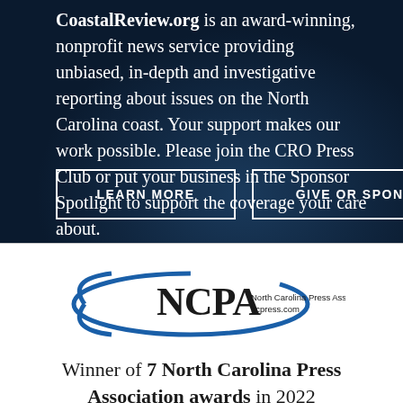CoastalReview.org is an award-winning, nonprofit news service providing unbiased, in-depth and investigative reporting about issues on the North Carolina coast. Your support makes our work possible. Please join the CRO Press Club or put your business in the Sponsor Spotlight to support the coverage your care about.
LEARN MORE
GIVE OR SPONSOR
[Figure (logo): NCPA North Carolina Press Association ncpress.com logo with blue oval arc]
Winner of 7 North Carolina Press Association awards in 2022